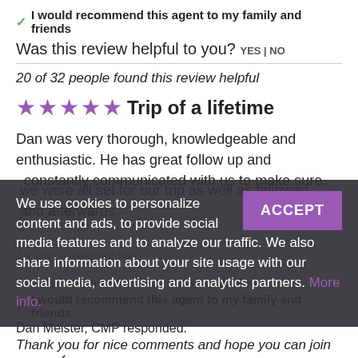✓ I would recommend this agent to my family and friends
Was this review helpful to you? YES | NO
20 of 32 people found this review helpful
★★★★★ Trip of a lifetime
Dan was very thorough, knowledgeable and enthusiastic. He has great follow up and constantly communicated with us to make sure we were all set for our trip as well as followed and afterwards.
We use cookies to personalize content and ads, to provide social media features and to analyze our traffic. We also share information about your site usage with our social media, advertising and analytics partners. More info.
Traveled to Caribbean Sea ~ At Sea ~ At Sea
✓ I would recommend this agent to my family and friends
Dan Meister, CMP responded:
Thank you for nice comments and hope you can join some of